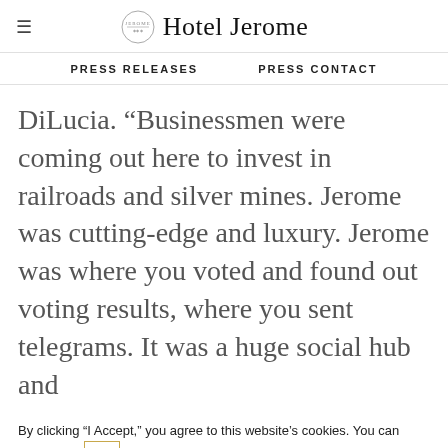Hotel Jerome
PRESS RELEASES   PRESS CONTACT
DiLucia. “Businessmen were coming out here to invest in railroads and silver mines. Jerome was cutting-edge and luxury. Jerome was where you voted and found out voting results, where you sent telegrams. It was a huge social hub and
By clicking “I Accept,” you agree to this website’s cookies. You can learn more here
Cookie Settings   ✓ I Accept
BOOK NOW
Auberge Resorts Collection